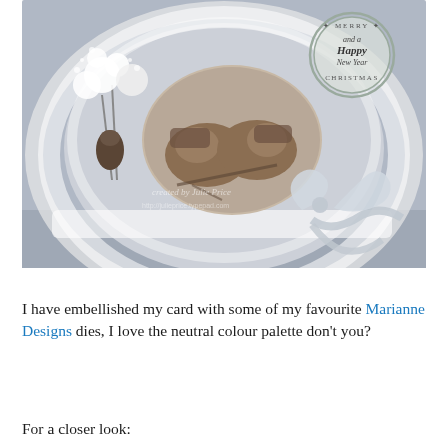[Figure (photo): A handmade Christmas card featuring two hedgehogs in a circular image at the center, surrounded by an ornate white lace die-cut frame on a grey card base. White flowers, pinecones and baby's breath embellishments are on the left side. A round 'Merry Christmas and a Happy New Year' stamp/seal is in the upper right. Silver ribbon bow at the bottom right. Watermark text reads 'created by Julie Price'.]
I have embellished my card with some of my favourite Marianne Designs dies, I love the neutral colour palette don't you?
For a closer look: